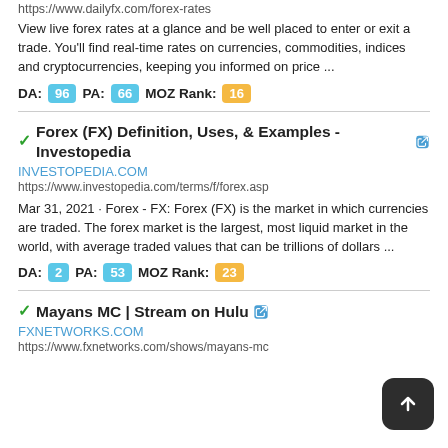https://www.dailyfx.com/forex-rates
View live forex rates at a glance and be well placed to enter or exit a trade. You'll find real-time rates on currencies, commodities, indices and cryptocurrencies, keeping you informed on price ...
DA: 96 PA: 66 MOZ Rank: 16
Forex (FX) Definition, Uses, & Examples - Investopedia
INVESTOPEDIA.COM
https://www.investopedia.com/terms/f/forex.asp
Mar 31, 2021 · Forex - FX: Forex (FX) is the market in which currencies are traded. The forex market is the largest, most liquid market in the world, with average traded values that can be trillions of dollars ...
DA: 2 PA: 53 MOZ Rank: 23
Mayans MC | Stream on Hulu
FXNETWORKS.COM
https://www.fxnetworks.com/shows/mayans-mc